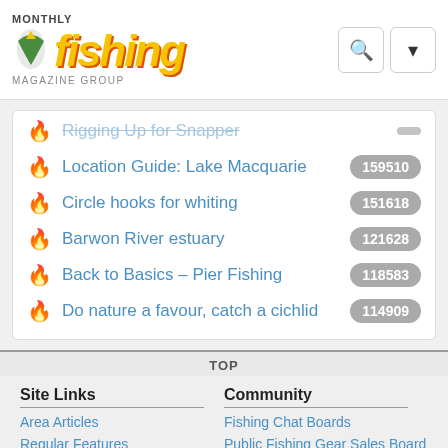Fishing Monthly Magazine Group
Location Guide: Lake Macquarie — 159510
Circle hooks for whiting — 151618
Barwon River estuary — 121628
Back to Basics – Pier Fishing — 118583
Do nature a favour, catch a cichlid — 114909
TOP
Site Links
Area Articles
Regular Features
Feature Articles
Hydrography
Community
Fishing Chat Boards
Public Fishing Gear Sales Board
Weekly Fishing Reports